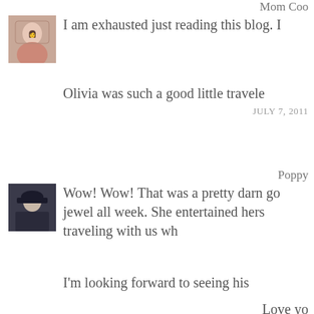Mom Coo
I am exhausted just reading this blog. I
Olivia was such a good little travele
JULY 7, 2011
Poppy
Wow! Wow! That was a pretty darn go jewel all week. She entertained hers traveling with us wh
I'm looking forward to seeing his
Love yo